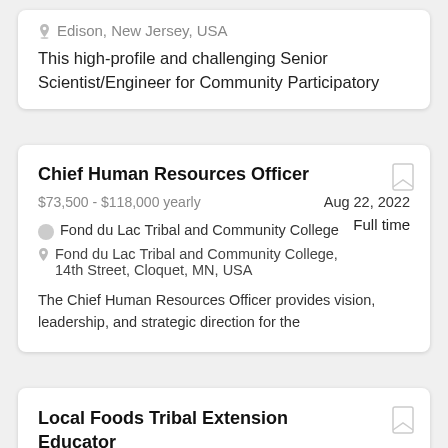Edison, New Jersey, USA
This high-profile and challenging Senior Scientist/Engineer for Community Participatory
Chief Human Resources Officer
$73,500 - $118,000 yearly
Aug 22, 2022
Full time
Fond du Lac Tribal and Community College
Fond du Lac Tribal and Community College, 14th Street, Cloquet, MN, USA
The Chief Human Resources Officer provides vision, leadership, and strategic direction for the
Local Foods Tribal Extension Educator